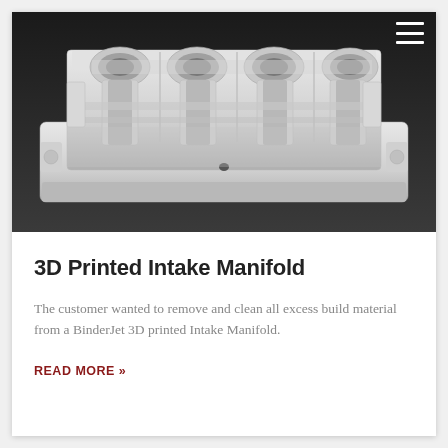[Figure (photo): A white 3D printed intake manifold component photographed against a dark grey background. The part shows complex internal geometry with multiple cylindrical ports and structural ribs, typical of a BinderJet 3D printed part.]
3D Printed Intake Manifold
The customer wanted to remove and clean all excess build material from a BinderJet 3D printed Intake Manifold.
READ MORE »